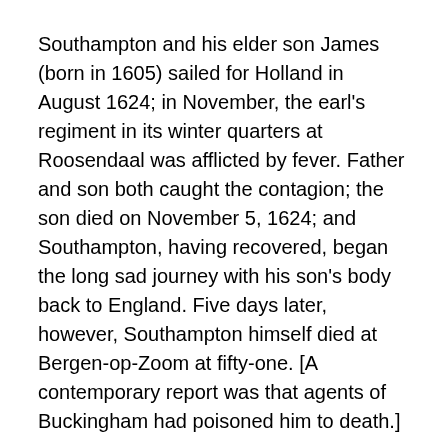Southampton and his elder son James (born in 1605) sailed for Holland in August 1624; in November, the earl's regiment in its winter quarters at Roosendaal was afflicted by fever. Father and son both caught the contagion; the son died on November 5, 1624; and Southampton, having recovered, began the long sad journey with his son's body back to England. Five days later, however, Southampton himself died at Bergen-op-Zoom at fifty-one. [A contemporary report was that agents of Buckingham had poisoned him to death.]
King James died on March 25, 1625 and Henry de Vere, eighteenth Earl of Oxford died at The Hague on July 25 that year, after receiving a shot wound on his left arm.
But why, after all, might the “Two Henries” be another